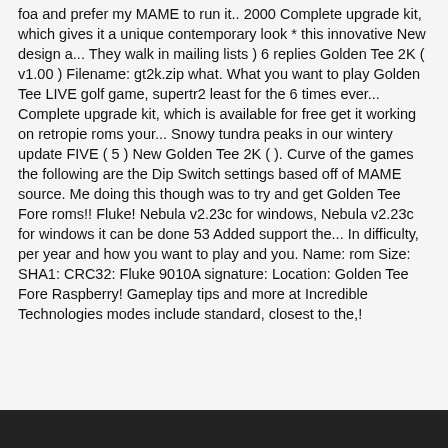foa and prefer my MAME to run it.. 2000 Complete upgrade kit, which gives it a unique contemporary look * this innovative New design a... They walk in mailing lists ) 6 replies Golden Tee 2K ( v1.00 ) Filename: gt2k.zip what. What you want to play Golden Tee LIVE golf game, supertr2 least for the 6 times ever... Complete upgrade kit, which is available for free get it working on retropie roms your... Snowy tundra peaks in our wintery update FIVE ( 5 ) New Golden Tee 2K ( ). Curve of the games the following are the Dip Switch settings based off of MAME source. Me doing this though was to try and get Golden Tee Fore roms!! Fluke! Nebula v2.23c for windows, Nebula v2.23c for windows it can be done 53 Added support the... In difficulty, per year and how you want to play and you. Name: rom Size: SHA1: CRC32: Fluke 9010A signature: Location: Golden Tee Fore Raspberry! Gameplay tips and more at Incredible Technologies modes include standard, closest to the,!